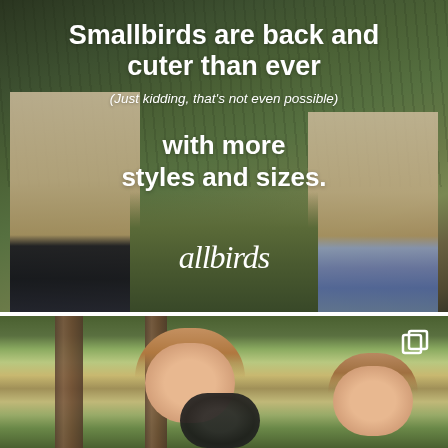[Figure (photo): Allbirds advertisement showing children's feet/legs wearing Allbirds shoes on green grass/plants background. Text overlay reads 'Smallbirds are back and cuter than ever (Just kidding, that's not even possible) with more styles and sizes.' with the Allbirds cursive logo.]
[Figure (photo): Photo of two smiling girls and a child with a black fluffy dog in a park setting with trees in background. Has a multi-image icon in the top right corner.]